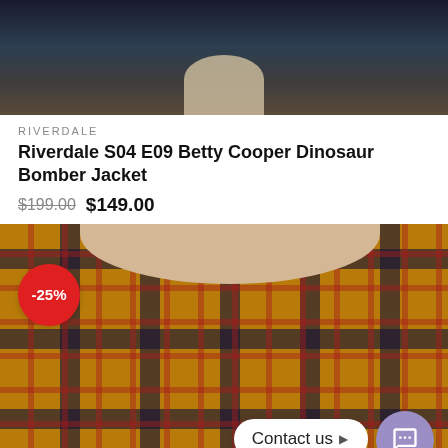[Figure (photo): Top portion of a product photo showing a person wearing a jacket, cropped — dark background with beige/cream collar visible]
RIVERDALE
Riverdale S04 E09 Betty Cooper Dinosaur Bomber Jacket
$199.00  $149.00
[Figure (photo): Product photo of a plaid bomber jacket in yellow/gold, navy, and red tartan pattern with a cream/beige corduroy collar, shown on a model. A red circle badge with -25% discount is overlaid on the left. A 'Contact us' chat widget appears in the bottom right corner.]